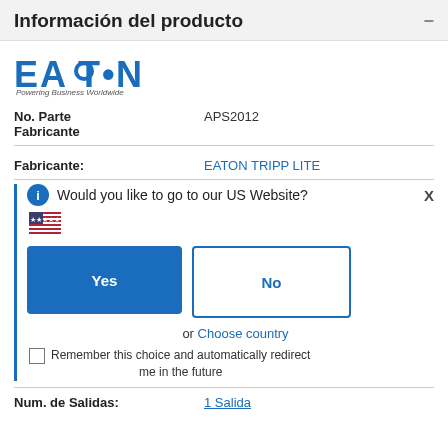Información del producto
[Figure (logo): Eaton logo with tagline 'Powering Business Worldwide']
No. Parte Fabricante    APS2012
Fabricante:    EATON TRIPP LITE
Would you like to go to our US Website?
[Figure (other): US flag emoji]
Yes
No
or Choose country
Remember this choice and automatically redirect me in the future
Num. de Salidas:    1 Salida